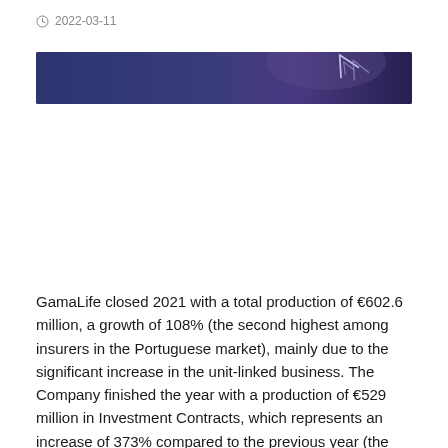2022-03-11
[Figure (photo): Dark blue/purple banner image with an upward arrow graphic on the right side]
GamaLife closed 2021 with a total production of €602.6 million, a growth of 108% (the second highest among insurers in the Portuguese market), mainly due to the significant increase in the unit-linked business. The Company finished the year with a production of €529 million in Investment Contracts, which represents an increase of 373% compared to the previous year (the highest among all insurers).